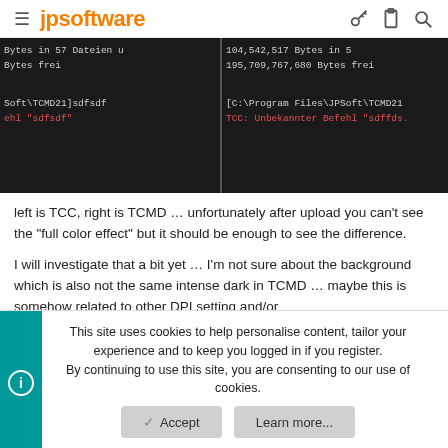≡ jpsoftware
[Figure (screenshot): Side-by-side terminal screenshots showing TCC (left) and TCMD (right) with dark backgrounds, monospace text showing file info and an error message 'Unbekannter Befehl sdfsdf' in red]
left is TCC, right is TCMD … unfortunately after upload you can't see the "full color effect" but it should be enough to see the difference.
I will investigate that a bit yet … I'm not sure about the background which is also not the same intense dark in TCMD … maybe this is somehow related to other DPI setting and/or
This site uses cookies to help personalise content, tailor your experience and to keep you logged in if you register.
By continuing to use this site, you are consenting to our use of cookies.